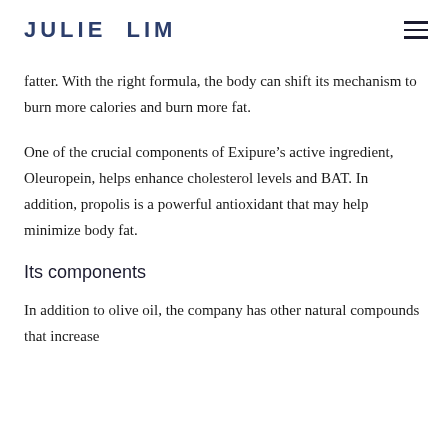JULIE LIM
fatter. With the right formula, the body can shift its mechanism to burn more calories and burn more fat.
One of the crucial components of Exipure's active ingredient, Oleuropein, helps enhance cholesterol levels and BAT. In addition, propolis is a powerful antioxidant that may help minimize body fat.
Its components
In addition to olive oil, the company has other natural compounds that increase